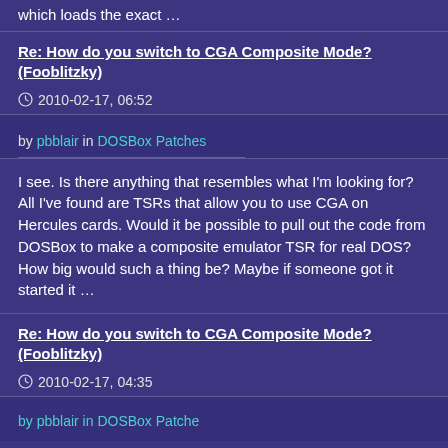which loads the exact …
Re: How do you switch to CGA Composite Mode? (Fooblitzky)
2010-02-17, 06:52
by pbblair in DOSBox Patches
I see. Is there anything that resembles what I'm looking for? All I've found are TSRs that allow you to use CGA on Hercules cards. Would it be possible to pull out the code from DOSBox to make a composite emulator TSR for real DOS? How big would such a thing be? Maybe if someone got it started it …
Re: How do you switch to CGA Composite Mode? (Fooblitzky)
2010-02-17, 04:35
by pbblair in DOSBox Patches